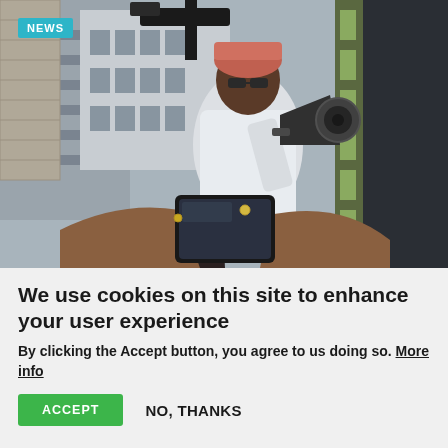[Figure (photo): Person speaking into a megaphone/bullhorn at an outdoor event, photographed from below. A hand holds a smartphone in the foreground filming the speaker. The speaker wears a white shirt and headwrap. Urban buildings visible in background. A 'NEWS' badge overlays the top-left corner of the image.]
We use cookies on this site to enhance your user experience
By clicking the Accept button, you agree to us doing so. More info
ACCEPT
NO, THANKS